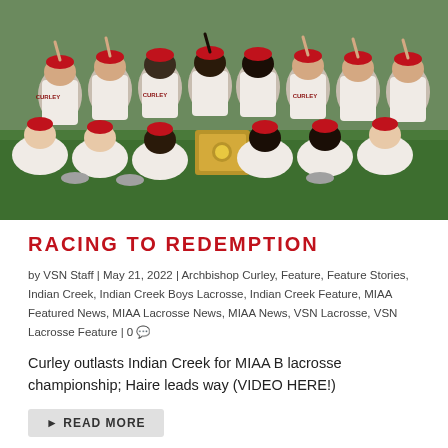[Figure (photo): Archbishop Curley lacrosse team celebrating championship win, players in white CURLEY uniforms and red caps sitting on field holding a championship plaque, many raising index fingers in a #1 gesture.]
RACING TO REDEMPTION
by VSN Staff | May 21, 2022 | Archbishop Curley, Feature, Feature Stories, Indian Creek, Indian Creek Boys Lacrosse, Indian Creek Feature, MIAA Featured News, MIAA Lacrosse News, MIAA News, VSN Lacrosse, VSN Lacrosse Feature | 0
Curley outlasts Indian Creek for MIAA B lacrosse championship; Haire leads way (VIDEO HERE!)